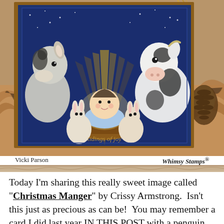[Figure (photo): A handmade Christmas card featuring a cute manger scene with baby Jesus in a manger, surrounded by a donkey, cow, and rabbits, set against a blue starry background with golden rays. The card has a navy and brown frame border. The card is displayed propped up on kraft paper shreds with a pine cone and twine ribbon visible. The card reads 'tidings of joy' at the bottom.]
Vicki Parson    Whimsy Stamps®
Today I'm sharing this really sweet image called "Christmas Manger" by Crissy Armstrong. Isn't this just as precious as can be!  You may remember a card I did last year IN THIS POST with a penguin style manger.  Really love Crissy's sweet images and